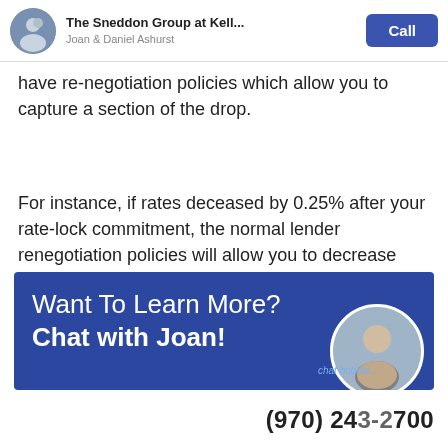The Sneddon Group at Kell... | Joan & Daniel Ashurst | Call
have re-negotiation policies which allow you to capture a section of the drop.
For instance, if rates deceased by 0.25% after your rate-lock commitment, the normal lender renegotiation policies will allow you to decrease your locked-rate by 0.125%.
[Figure (infographic): Blue banner with text 'Want To Learn More? Chat with Joan!' and a circular photo of a person on the right side. Below is a chat bubble label and phone number (970) 243-2700.]
(970) 243-2700